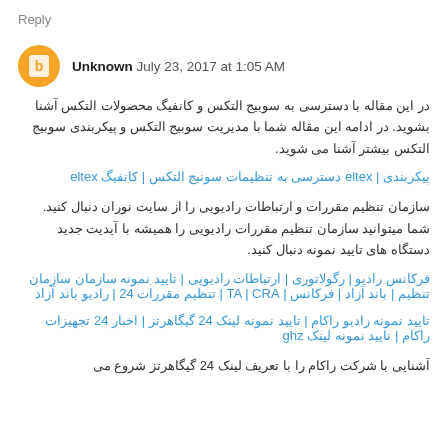Reply
Unknown July 23, 2017 at 1:05 AM
در این مقاله با دسترسی به سوبیج التکس و کانفیگ محصولات التکس آشنا بشوید. در ادامه این مقاله شما با مدیریت سوبیج التکس و پیکربندی سوبیج التکس بیشتر آشنا می شوید.
پیکربندی | eltex دسترسی به تنظیمات سونیج التکس | کانفیگ eltex
سازمان تنظیم مقررات و ارتباطات رادیویی را از سایت نوران دنبال کنید. شما میتوانید سازمان تنظیم مقررات رادیویی را همیشه با آیدیت جدید دستگاه های تایید نمونه دنبال کنید.
فرکانس رادیو | رگولاتوری | ارتباطات رادیویی | تایید نمونه سازمان سازمان تنظیم | باند آزاد | فرکانس | TA | CRA | تنظیم مقررات 24 | رادیو باند آزاد
تایید نمونه رادیو راکام | تایید نمونه لینک 24 گیگاهرتز | اخبار 24 تجهیزات راکام | تایید نمونه لینک ghz
آشنایی با شرکت راکام را با تعریف لینک 24 گیگاهرتز شروع می